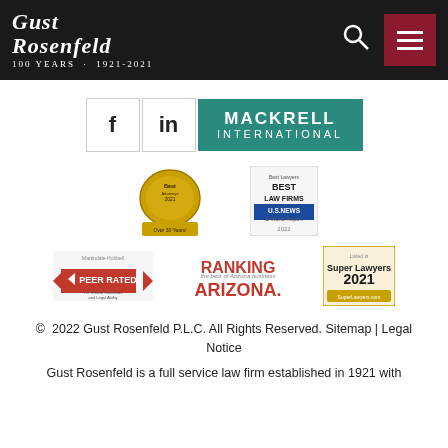[Figure (logo): Gust Rosenfeld law firm header with logo, search icon, and menu button on dark background]
[Figure (logo): Social media icons (Facebook, LinkedIn) and Mackrell International logo]
[Figure (logo): Best Attorneys award badge (over 30 years) and Best Law Firms U.S. News 2022 badge]
[Figure (logo): Martindale-Hubbell Peer Rated badge, Ranking Arizona logo, and Super Lawyers 2021 badge]
© 2022 Gust Rosenfeld P.L.C. All Rights Reserved. Sitemap | Legal Notice
Gust Rosenfeld is a full service law firm established in 1921 with